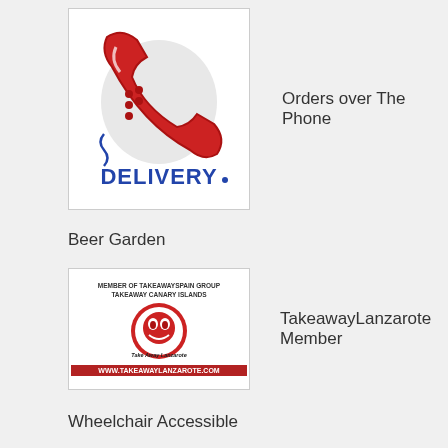[Figure (logo): Red telephone delivery logo with the word DELIVERY in blue text below]
Orders over The Phone
Beer Garden
[Figure (logo): TakeAway Lanzarote member badge with circular logo and www.takeawaylanzarote.com URL bar]
TakeawayLanzarote Member
Wheelchair Accessible
Free Wifi
Payment Accepted:
^ Back to Top
[Figure (logo): Small logo box at bottom left (partially visible)]
Cashless Deliv...